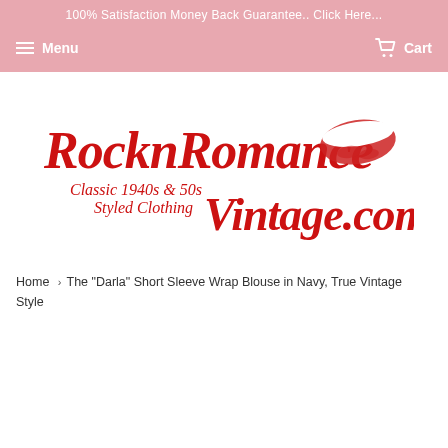100% Satisfaction Money Back Guarantee.. Click Here...
Menu   Cart
[Figure (logo): RocknRomance Vintage.com logo — red cursive script with 'Classic 1940s & 50s Styled Clothing' tagline and a red lipstick kiss mark]
Home › The "Darla" Short Sleeve Wrap Blouse in Navy, True Vintage Style